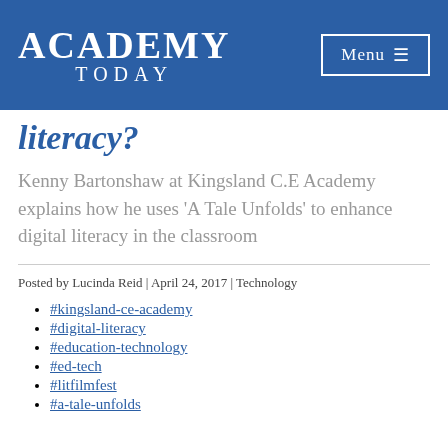Academy Today | Menu
literacy?
Kenny Bartonshaw at Kingsland C.E Academy explains how he uses 'A Tale Unfolds' to enhance digital literacy in the classroom
Posted by Lucinda Reid | April 24, 2017 | Technology
#kingsland-ce-academy
#digital-literacy
#education-technology
#ed-tech
#litfilmfest
#a-tale-unfolds